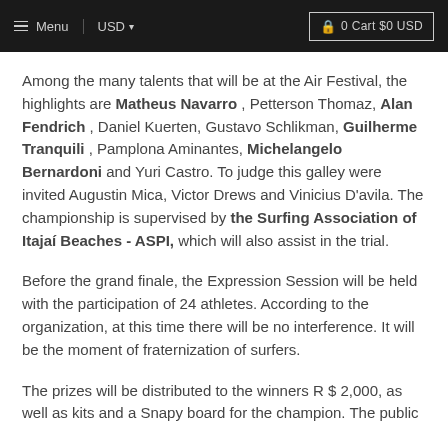≡ Menu  USD ▾  🔒 0 Cart $0 USD
Among the many talents that will be at the Air Festival, the highlights are Matheus Navarro , Petterson Thomaz, Alan Fendrich , Daniel Kuerten, Gustavo Schlikman, Guilherme Tranquili , Pamplona Aminantes, Michelangelo Bernardoni and Yuri Castro. To judge this galley were invited Augustin Mica, Victor Drews and Vinicius D'avila. The championship is supervised by the Surfing Association of Itajaí Beaches - ASPI, which will also assist in the trial.
Before the grand finale, the Expression Session will be held with the participation of 24 athletes. According to the organization, at this time there will be no interference. It will be the moment of fraternization of surfers.
The prizes will be distributed to the winners R $ 2,000, as well as kits and a Snapy board for the champion. The public